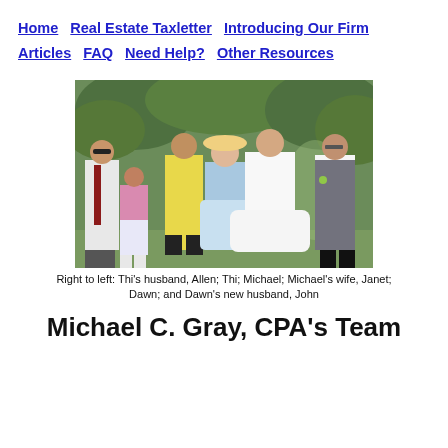Home   Real Estate Taxletter   Introducing Our Firm   Articles   FAQ   Need Help?   Other Resources
[Figure (photo): Group photo of six people standing outdoors at a wedding, with trees in the background. From right to left: a man in a dark vest, a woman in a white wedding dress, a woman in blue and white dress, a man in a yellow shirt, a young girl in pink, and a man in a white shirt with a red tie.]
Right to left: Thi's husband, Allen; Thi; Michael; Michael's wife, Janet; Dawn; and Dawn's new husband, John
Michael C. Gray, CPA's Team